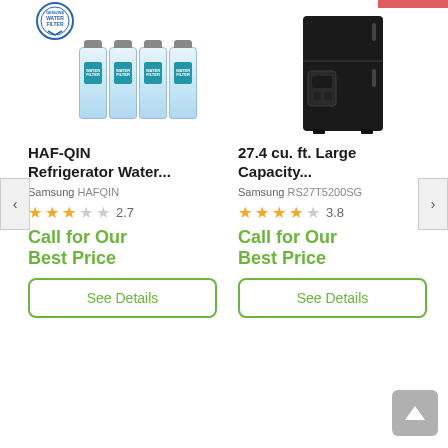[Figure (photo): Four Samsung water filter bottles with Genuine Water Filter badge above]
HAF-QIN Refrigerator Water...
Samsung HAFQIN
2.7 stars
Call for Our Best Price
See Details
[Figure (photo): Black Samsung side-by-side refrigerator with red banner at top]
27.4 cu. ft. Large Capacity...
Samsung RS27T5200SG
3.8 stars
Call for Our Best Price
See Details